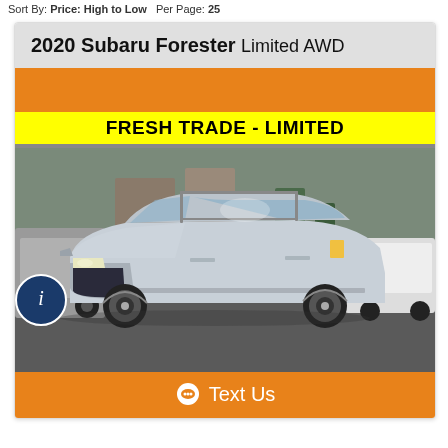Sort By: Price: High to Low  Per Page: 25
2020 Subaru Forester Limited AWD
[Figure (photo): Silver 2020 Subaru Forester Limited AWD SUV photographed in a dealership lot with a yellow 'FRESH TRADE - LIMITED' banner overlay at the top of the image.]
Text Us